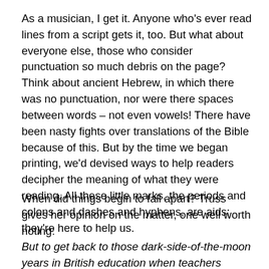As a musician, I get it. Anyone who's ever read lines from a script gets it, too. But what about everyone else, those who consider punctuation so much debris on the page? Think about ancient Hebrew, in which there was no punctuation, nor were there spaces between words – not even vowels! There have been nasty fights over translations of the Bible because of this. But by the time we began printing, we'd devised ways to help readers decipher the meaning of what they were reading. All these little marks, the periods and colons and dashes and hyphens, are aids; they're here to help us.
When did things begin to fall apart? Truss gives her opinion on the matter, one well worth noting:
But to get back to those dark-side-of-the-moon years in British education when teachers upheld the view that